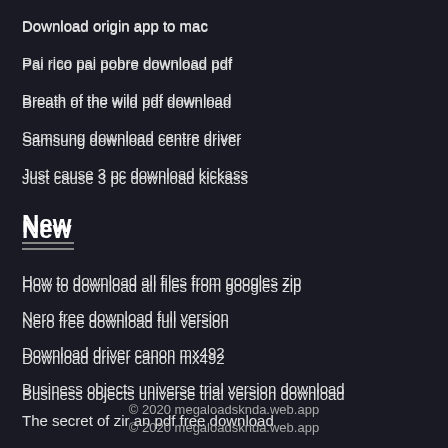Download origin app to mac
Pai rico pai pobre download pdf
Breath of the wild pdf download
Samsung download centre driver
Just cause 3 pc download kickass
New
How to download all files from googles zip
Nero free download full version
Download driver canon mx492
Business objects universe trial version download
The secret of zir an pdf free download
© 2020 megaloadsknda.web.app